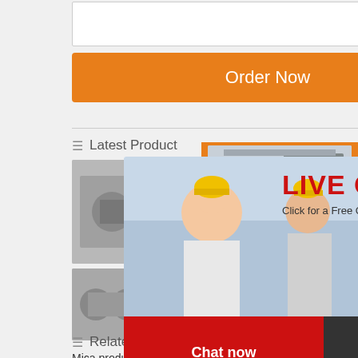[Figure (screenshot): Text input textarea with resize handle]
[Figure (screenshot): Orange Order Now button]
Latest Product
[Figure (photo): Product images - machinery/industrial equipment photos in two rows]
[Figure (screenshot): Live Chat popup overlay with persons in hard hats, LIVE CHAT heading, Click for a Free Consultation, Chat now and Chat later buttons]
[Figure (screenshot): Right sidebar with machinery images, Enjoy 3% discount, Click to Chat, Enquiry, limingjlmofen@sina.com]
Related Articles
Mica production line production